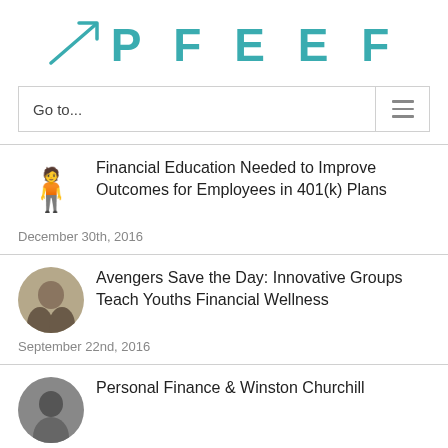PFEEF
Go to...
Financial Education Needed to Improve Outcomes for Employees in 401(k) Plans
December 30th, 2016
Avengers Save the Day: Innovative Groups Teach Youths Financial Wellness
September 22nd, 2016
Personal Finance & Winston Churchill